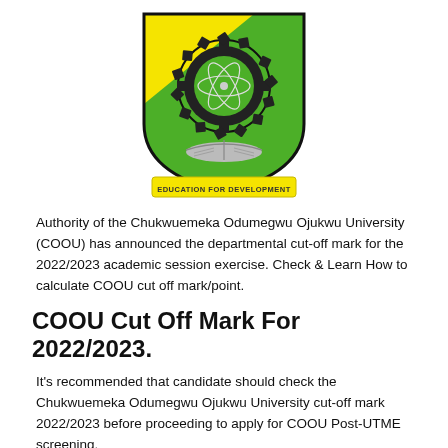[Figure (logo): Chukwuemeka Odumegwu Ojukwu University (COOU) shield crest logo. Shield with yellow top-left and green bottom-right sections, black gear border, atomic symbol in center, open book at bottom, yellow ribbon banner below reading EDUCATION FOR DEVELOPMENT.]
Authority of the Chukwuemeka Odumegwu Ojukwu University (COOU) has announced the departmental cut-off mark for the 2022/2023 academic session exercise. Check & Learn How to calculate COOU cut off mark/point.
COOU Cut Off Mark For 2022/2023.
It's recommended that candidate should check the Chukwuemeka Odumegwu Ojukwu University cut-off mark 2022/2023 before proceeding to apply for COOU Post-UTME screening.